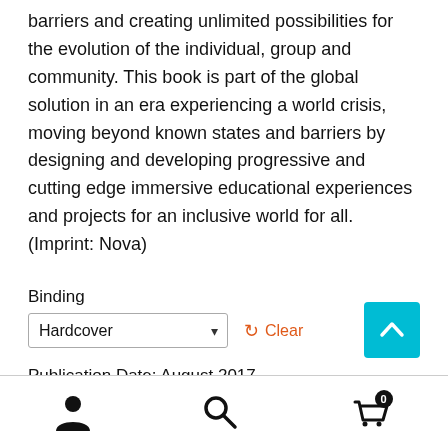barriers and creating unlimited possibilities for the evolution of the individual, group and community. This book is part of the global solution in an era experiencing a world crisis, moving beyond known states and barriers by designing and developing progressive and cutting edge immersive educational experiences and projects for an inclusive world for all. (Imprint: Nova)
Binding
Hardcover
Publication Date: August 2017
Status: Available
130 pages
[Figure (other): Teal back-to-top button with upward chevron arrow]
[Figure (other): Footer navigation bar with user account icon, search icon, and shopping cart icon with badge showing 0]